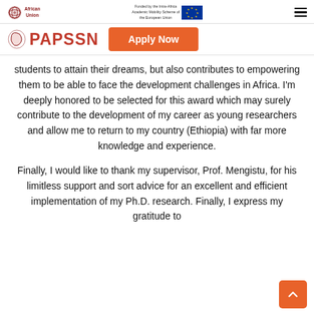African Union | Funded by the Intra-Africa Academic Mobility Scheme of the European Union | PAPSSN | Apply Now
students to attain their dreams, but also contributes to empowering them to be able to face the development challenges in Africa. I'm deeply honored to be selected for this award which may surely contribute to the development of my career as young researchers and allow me to return to my country (Ethiopia) with far more knowledge and experience.
Finally, I would like to thank my supervisor, Prof. Mengistu, for his limitless support and sort advice for an excellent and efficient implementation of my Ph.D. research. Finally, I express my gratitude to